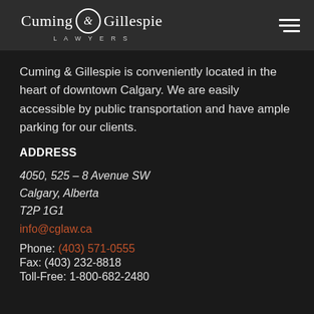Cuming & Gillespie LAWYERS
Cuming & Gillespie is conveniently located in the heart of downtown Calgary. We are easily accessible by public transportation and have ample parking for our clients.
ADDRESS
4050, 525 – 8 Avenue SW
Calgary, Alberta
T2P 1G1
info@cglaw.ca
Phone: (403) 571-0555
Fax: (403) 232-8818
Toll-Free: 1-800-682-2480